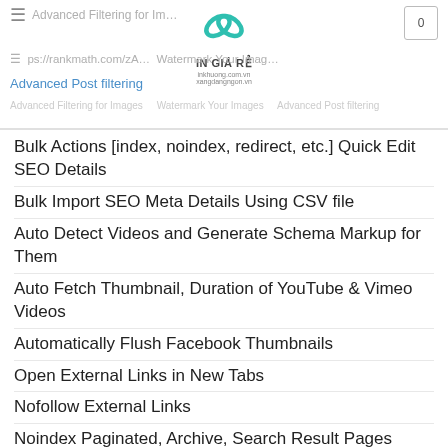Advanced Filtering for Images https://rankmath.com/z... Watermark Your Images Advanced Post filtering
Bulk Actions [index, noindex, redirect, etc.] Quick Edit SEO Details
Bulk Import SEO Meta Details Using CSV file
Auto Detect Videos and Generate Schema Markup for Them
Auto Fetch Thumbnail, Duration of YouTube & Vimeo Videos
Automatically Flush Facebook Thumbnails
Open External Links in New Tabs
Nofollow External Links
Noindex Paginated, Archive, Search Result Pages
Instant Indexing for Bing & Yandex [Also Google using our Instant Indexing Plugin] WooCommerce SEO
Automatic Schema for WooCommerce Products
Advanced Open Graph Tags for WooCommerce Products
Automatic NoIndex Hidden Products
Remove WooCommerce Product and Category Base